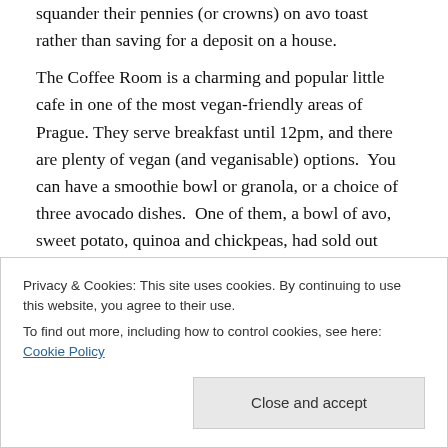squander their pennies (or crowns) on avo toast rather than saving for a deposit on a house.
The Coffee Room is a charming and popular little cafe in one of the most vegan-friendly areas of Prague. They serve breakfast until 12pm, and there are plenty of vegan (and veganisable) options.  You can have a smoothie bowl or granola, or a choice of three avocado dishes.  One of them, a bowl of avo, sweet potato, quinoa and chickpeas, had sold out when we turned up at 11:55am, so we went for the other two options.
Privacy & Cookies: This site uses cookies. By continuing to use this website, you agree to their use.
To find out more, including how to control cookies, see here: Cookie Policy